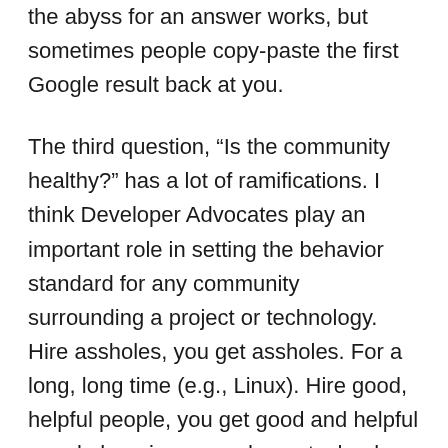the abyss for an answer works, but sometimes people copy-paste the first Google result back at you.
The third question, “Is the community healthy?” has a lot of ramifications. I think Developer Advocates play an important role in setting the behavior standard for any community surrounding a project or technology. Hire assholes, you get assholes. For a long, long time (e.g., Linux). Hire good, helpful people, you get good and helpful people hanging around your technology. I think if you don’t focus on healthy community engagement, you open the door for shitlords to rule the roost and cement the culture.